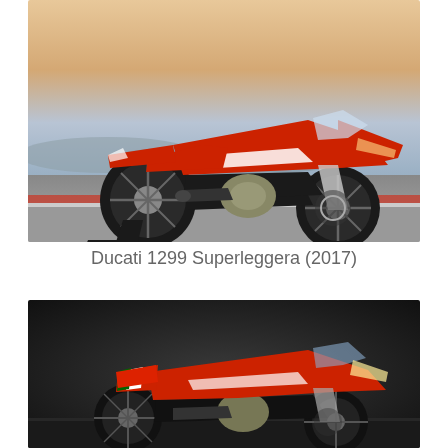[Figure (photo): Red and white Ducati 1299 Superleggera motorcycle on a race track, side profile view, sunset/dusk background]
Ducati 1299 Superleggera (2017)
[Figure (photo): Red, white and green Ducati Panigale V4 Speciale motorcycle on dark studio background, side profile view]